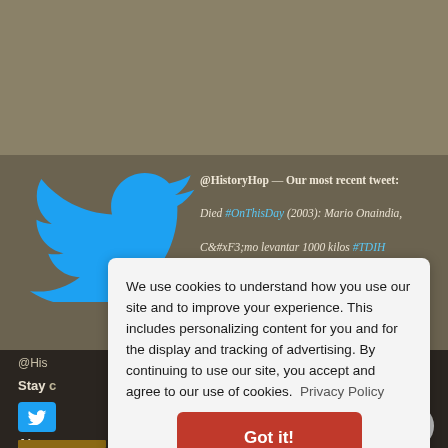[Figure (screenshot): Screenshot of HistoryHop website with Twitter panel showing tweet about Mario Onaindia, a cookie consent overlay, and partial website content.]
@HistoryHop — Our most recent tweet: Died #OnThisDay (2003): Mario Onaindia, C&amp;#xF3;mo levantar 1000 kilos #TDIH
We use cookies to understand how you use our site and to improve your experience. This includes personalizing content for you and for the display and tracking of advertising. By continuing to use our site, you accept and agree to our use of cookies.  Privacy Policy
Got it!